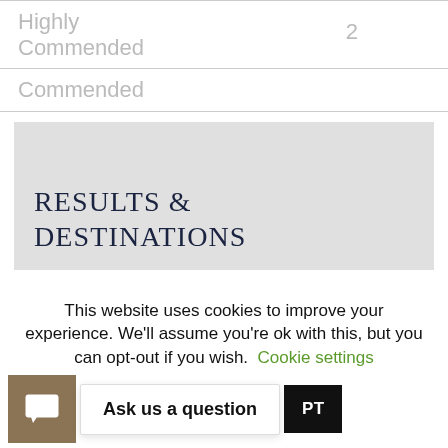Highly Commended
2
Commended
RESULTS & DESTINATIONS
This website uses cookies to improve your experience. We'll assume you're ok with this, but you can opt-out if you wish.
Cookie settings
Ask us a question
PT